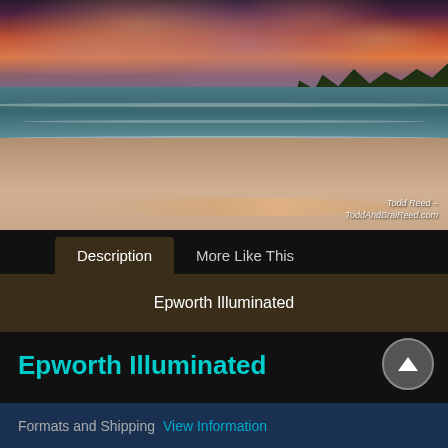[Figure (photo): Beach sunset photograph showing waves on a sandy shoreline with dramatic pink and orange clouds in the sky and a treeline in the background. Watermark reads 'Todd Reed - ToddAndBraiReed.com']
Description | More Like This
Epworth Illuminated
Epworth Illuminated
Formats and Shipping  View Information